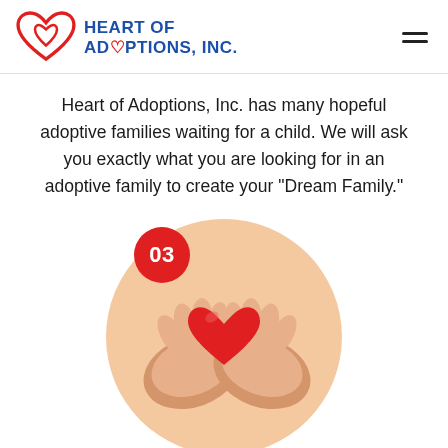[Figure (logo): Heart of Adoptions, Inc. logo with red heart icon and blue text]
Heart of Adoptions, Inc. has many hopeful adoptive families waiting for a child. We will ask you exactly what you are looking for in an adoptive family to create your "Dream Family."
[Figure (photo): Hands cupping a red heart, inside a circular crop. A red badge with number 03 overlaid in upper left of circle.]